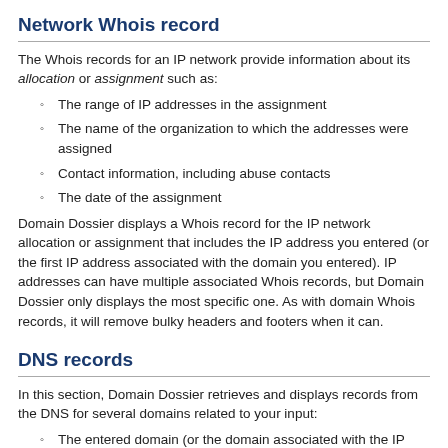Network Whois record
The Whois records for an IP network provide information about its allocation or assignment such as:
The range of IP addresses in the assignment
The name of the organization to which the addresses were assigned
Contact information, including abuse contacts
The date of the assignment
Domain Dossier displays a Whois record for the IP network allocation or assignment that includes the IP address you entered (or the first IP address associated with the domain you entered). IP addresses can have multiple associated Whois records, but Domain Dossier only displays the most specific one. As with domain Whois records, it will remove bulky headers and footers when it can.
DNS records
In this section, Domain Dossier retrieves and displays records from the DNS for several domains related to your input:
The entered domain (or the domain associated with the IP address you entered)